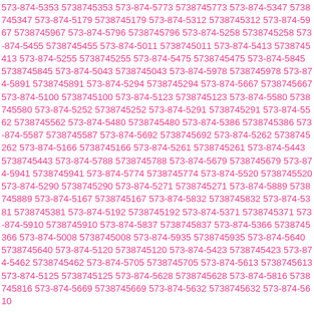573-874-5353 5738745353 573-874-5773 5738745773 573-874-5347 5738745347 573-874-5179 5738745179 573-874-5312 5738745312 573-874-5967 5738745967 573-874-5796 5738745796 573-874-5258 5738745258 573-874-5455 5738745455 573-874-5011 5738745011 573-874-5413 5738745413 573-874-5255 5738745255 573-874-5475 5738745475 573-874-5845 5738745845 573-874-5043 5738745043 573-874-5978 5738745978 573-874-5891 5738745891 573-874-5294 5738745294 573-874-5667 5738745667 573-874-5100 5738745100 573-874-5123 5738745123 573-874-5580 5738745580 573-874-5252 5738745252 573-874-5291 5738745291 573-874-5562 5738745562 573-874-5480 5738745480 573-874-5386 5738745386 573-874-5587 5738745587 573-874-5692 5738745692 573-874-5262 5738745262 573-874-5166 5738745166 573-874-5261 5738745261 573-874-5443 5738745443 573-874-5788 5738745788 573-874-5679 5738745679 573-874-5941 5738745941 573-874-5774 5738745774 573-874-5520 5738745520 573-874-5290 5738745290 573-874-5271 5738745271 573-874-5889 5738745889 573-874-5167 5738745167 573-874-5832 5738745832 573-874-5381 5738745381 573-874-5192 5738745192 573-874-5371 5738745371 573-874-5910 5738745910 573-874-5837 5738745837 573-874-5366 5738745366 573-874-5008 5738745008 573-874-5935 5738745935 573-874-5640 5738745640 573-874-5120 5738745120 573-874-5423 5738745423 573-874-5462 5738745462 573-874-5705 5738745705 573-874-5613 5738745613 573-874-5125 5738745125 573-874-5628 5738745628 573-874-5816 5738745816 573-874-5669 5738745669 573-874-5632 5738745632 573-874-5610